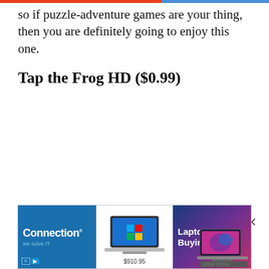so if puzzle-adventure games are your thing, then you are definitely going to enjoy this one.
Tap the Frog HD ($0.99)
[Figure (screenshot): Advertisement banner showing three panels: Connection brand logo on blue background, a laptop (HP) with price $910.95, and a Laptop Buying Guide panel on purple/pink gradient background.]